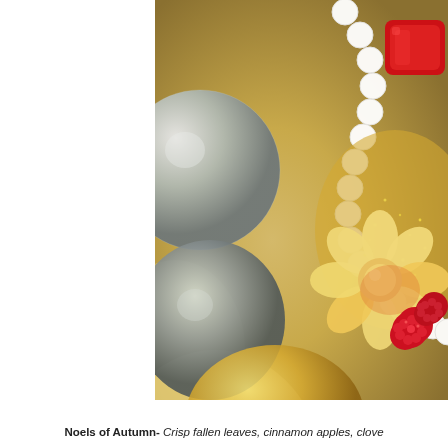[Figure (photo): Close-up photograph of a decorative holiday wreath or ornament with glittery silver and gold spheres, white scalloped lace-like edging, and candy/sugar decorations including a flower-shaped yellow-orange candy, red raspberries, and a red candy piece, all with gold glitter dust.]
Noels of Autumn- Crisp fallen leaves, cinnamon apples, clove